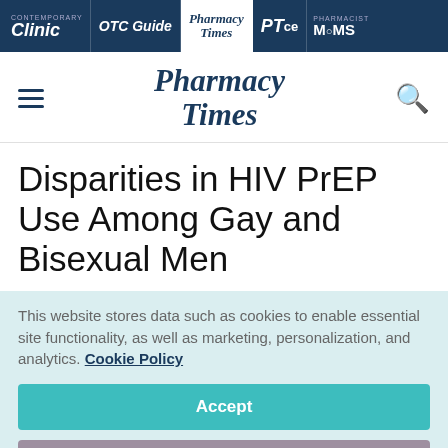Contemporary Clinic | OTC Guide | Pharmacy Times | PTce | Pharmacist Moms
[Figure (logo): Pharmacy Times logo with hamburger menu and search icon in header]
Disparities in HIV PrEP Use Among Gay and Bisexual Men
This website stores data such as cookies to enable essential site functionality, as well as marketing, personalization, and analytics. Cookie Policy
Accept
Deny